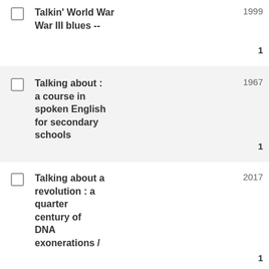Talkin' World War III blues -- | 1999 | 1
Talking about : a course in spoken English for secondary schools | 1967 | 1
Talking about a revolution : a quarter century of DNA exonerations / / Daniel S. | 2017 | 1